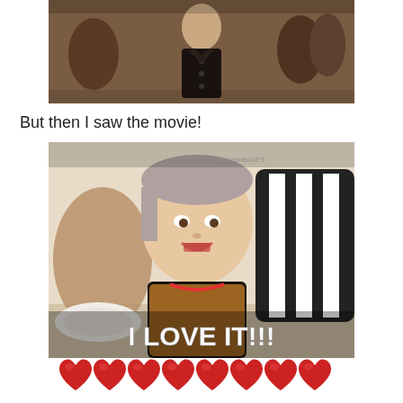[Figure (photo): Old sepia-toned photograph of a child in dark clothing with buttons, with other figures visible in the background]
But then I saw the movie!
[Figure (photo): Meme-style image of a young girl smiling at a table with text overlay reading 'I LOVE IT!!!' and a watermark 'ShaytardsGIFS']
[Figure (illustration): Row of 8 red heart emojis]